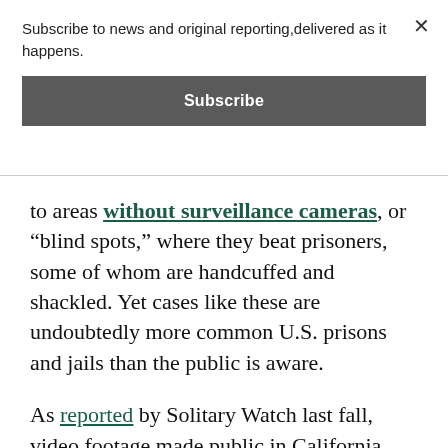Subscribe to news and original reporting,delivered as it happens.
Subscribe
to areas without surveillance cameras, or “blind spots,” where they beat prisoners, some of whom are handcuffed and shackled. Yet cases like these are undoubtedly more common U.S. prisons and jails than the public is aware.
As reported by Solitary Watch last fall, video footage made public in California showed guards at state prisons repeatedly dousing psychotic prisoners with pepper